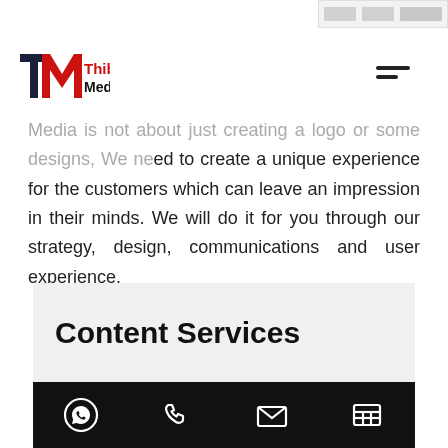[Figure (screenshot): Partial navigation bar from previous page visible at top right]
[Figure (logo): Thibstas Media logo - TM icon in dark blue and red with bold text]
Media is not about just creating a logo or some designs, We need to create a unique experience for the customers which can leave an impression in their minds. We will do it for you through our strategy, design, communications and user experience.
Content Services
[Figure (other): Black bottom navigation bar with WhatsApp, phone, email, and contact icons]